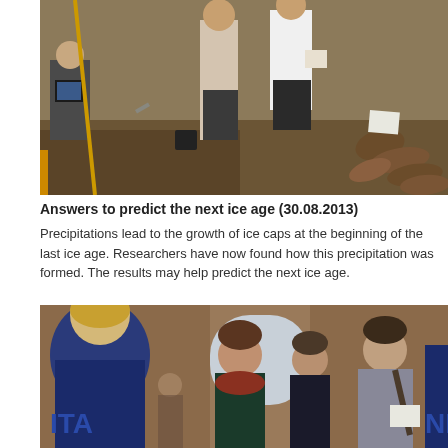[Figure (photo): Archaeological excavation scene with researchers working at a dig site, examining and recording findings. Stone walls visible in background, with several mummified remains visible on the right side.]
Answers to predict the next ice age (30.08.2013)
Precipitations lead to the growth of ice caps at the beginning of the last ice age. Researchers have now found how this precipitation was formed. The results may help predict the next ice age.
[Figure (photo): Group of people at an event or conference in a building with brick arched doorways. A blonde woman faces away from camera in the foreground, while several younger people including a smiling brunette woman with a scarf, another woman, and a young man are visible.]